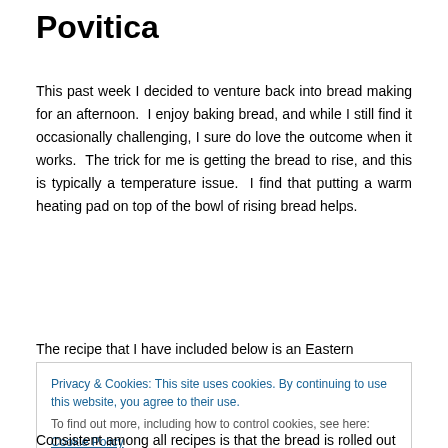Povitica
This past week I decided to venture back into bread making for an afternoon.  I enjoy baking bread, and while I still find it occasionally challenging, I sure do love the outcome when it works.  The trick for me is getting the bread to rise, and this is typically a temperature issue.  I find that putting a warm heating pad on top of the bowl of rising bread helps.
The recipe that I have included below is an Eastern
Privacy & Cookies: This site uses cookies. By continuing to use this website, you agree to their use.
To find out more, including how to control cookies, see here: Cookie Policy
Close and accept
Consistent among all recipes is that the bread is rolled out